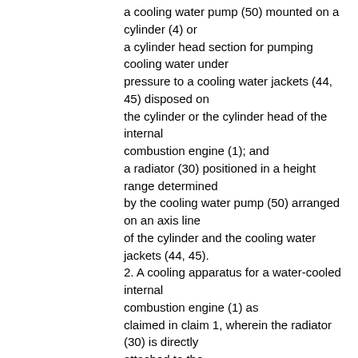a cooling water pump (50) mounted on a cylinder (4) or a cylinder head section for pumping cooling water under pressure to a cooling water jackets (44, 45) disposed on the cylinder or the cylinder head of the internal combustion engine (1); and
a radiator (30) positioned in a height range determined by the cooling water pump (50) arranged on an axis line of the cylinder and the cooling water jackets (44, 45).
2. A cooling apparatus for a water-cooled internal combustion engine (1) as claimed in claim 1, wherein the radiator (30) is directly attached to the cylinder (4) or the cylinder head section.
3. A cooling apparatus for a water-cooled combustion engine as claimed in claim 2, wherein the cylinder (4) is arranged in a horizontal direction, and the radiator (30) is directly mounted on the cylinder (4).
4. A cooling apparatus for a water-cooled internal combustion engine substantially as herein described with reference to the accompanying...